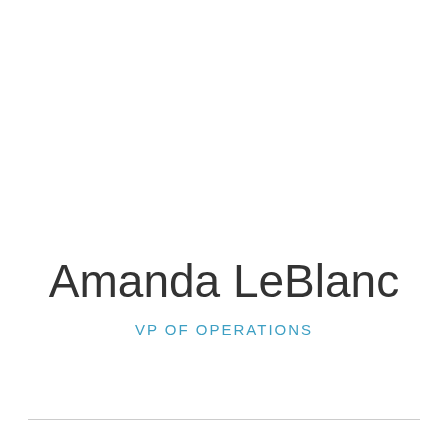Amanda LeBlanc
VP OF OPERATIONS